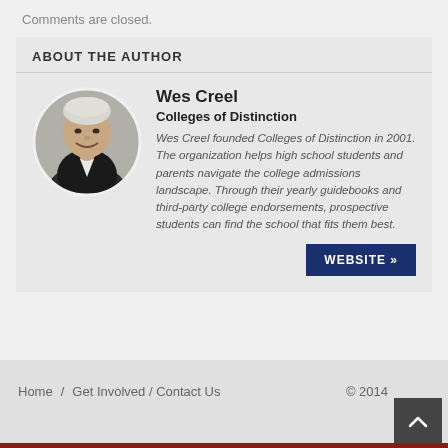Comments are closed.
ABOUT THE AUTHOR
[Figure (photo): Black and white circular portrait photo of Wes Creel, a middle-aged man in a suit smiling]
Wes Creel
Colleges of Distinction
Wes Creel founded Colleges of Distinction in 2001. The organization helps high school students and parents navigate the college admissions landscape. Through their yearly guidebooks and third-party college endorsements, prospective students can find the school that fits them best.
WEBSITE »
Home / Get Involved / Contact Us © 2014